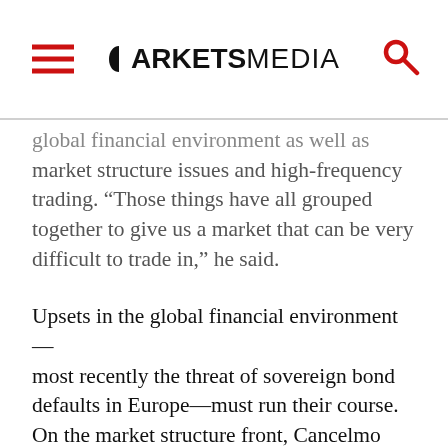MARKETS MEDIA
global financial environment as well as market structure issues and high-frequency trading. “Those things have all grouped together to give us a market that can be very difficult to trade in,” he said.
Upsets in the global financial environment—most recently the threat of sovereign bond defaults in Europe—must run their course. On the market structure front, Cancelmo pointed to the maker-taker fee model offered by most of the exchanges and the competitive